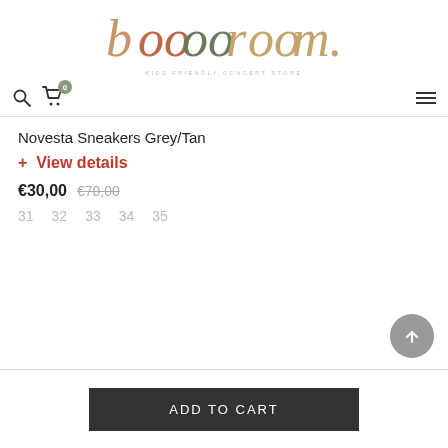[Figure (logo): booooroom kids friendly concept store logo with colorful letters]
KIDS FRIENDLY CONCEPT STORE
Novesta Sneakers Grey/Tan
+ View details
€30,00  €70,00
31  32  33  34  35
ADD TO CART